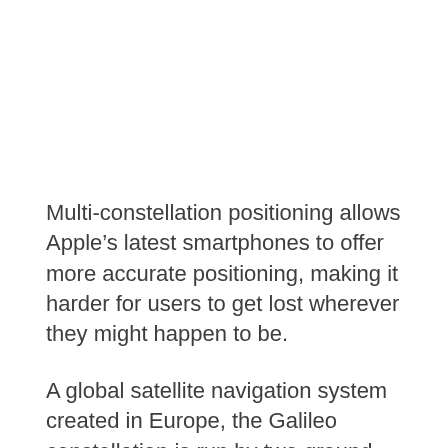Multi-constellation positioning allows Apple’s latest smartphones to offer more accurate positioning, making it harder for users to get lost wherever they might happen to be.
A global satellite navigation system created in Europe, the Galileo constellation is run by two ground operations centres in Oberpfaffenhofen near Munich, Germany and Fucino, Italy.
As of August 2017, there were fifteen operational